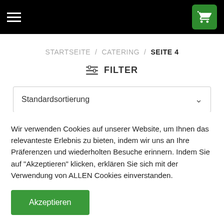Navigation bar with hamburger menu and cart icon
STARTSEITE / CATERING / SEITE 4
≡ FILTER
Standardsortierung
Wir verwenden Cookies auf unserer Website, um Ihnen das relevanteste Erlebnis zu bieten, indem wir uns an Ihre Präferenzen und wiederholten Besuche erinnern. Indem Sie auf "Akzeptieren" klicken, erklären Sie sich mit der Verwendung von ALLEN Cookies einverstanden.
Akzeptieren